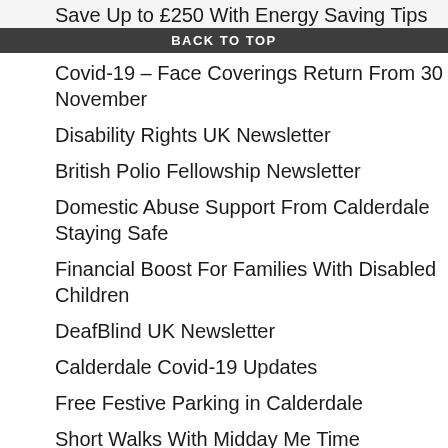Save Up to £250 With Energy Saving Tips
BACK TO TOP
Covid-19 – Face Coverings Return From 30 November
Disability Rights UK Newsletter
British Polio Fellowship Newsletter
Domestic Abuse Support From Calderdale Staying Safe
Financial Boost For Families With Disabled Children
DeafBlind UK Newsletter
Calderdale Covid-19 Updates
Free Festive Parking in Calderdale
Short Walks With Midday Me Time
Join Us For Our Christmas Party
Two thirds of UK population clueless about learning disabilities
Disability Rights UK Newsletter
Over £200 million of investment is coming to Halifax
New videos explain Disability Living Allowance (DLA) for children
Hearing Dogs for Deaf People Newsletter